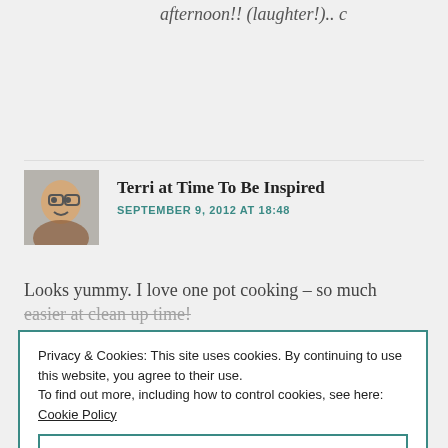afternoon!! (laughter!).. c
Terri at Time To Be Inspired
SEPTEMBER 9, 2012 AT 18:48
Looks yummy. I love one pot cooking – so much easier at clean up time!
Privacy & Cookies: This site uses cookies. By continuing to use this website, you agree to their use.
To find out more, including how to control cookies, see here: Cookie Policy
Close and accept